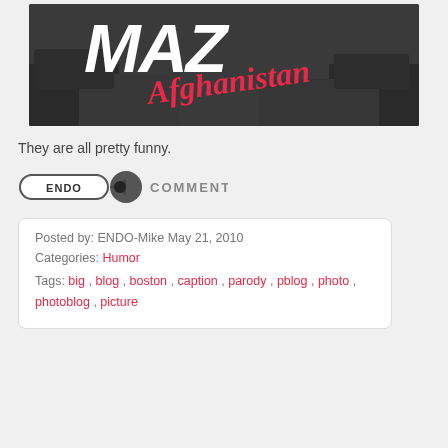[Figure (illustration): Blog post header image with text reading MAZ Afghanistan in large white/pink letters over a dark background showing destroyed vehicles]
They are all pretty funny.
[Figure (logo): ENDO comment badge logo with pill-shaped ENDO label and COMMENT text]
Posted by: ENDO-Mike May 21, 2010
Categories: Humor
Tags: big , blog , boston , caption , parody , pblog , photo , photoblog , picture